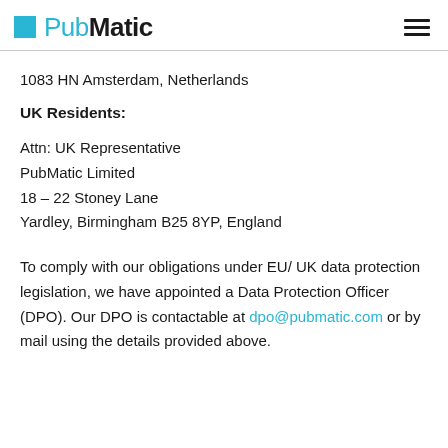PubMatic
1083 HN Amsterdam, Netherlands
UK Residents:
Attn: UK Representative
PubMatic Limited
18 – 22 Stoney Lane
Yardley, Birmingham B25 8YP, England
To comply with our obligations under EU/ UK data protection legislation, we have appointed a Data Protection Officer (DPO). Our DPO is contactable at dpo@pubmatic.com or by mail using the details provided above.